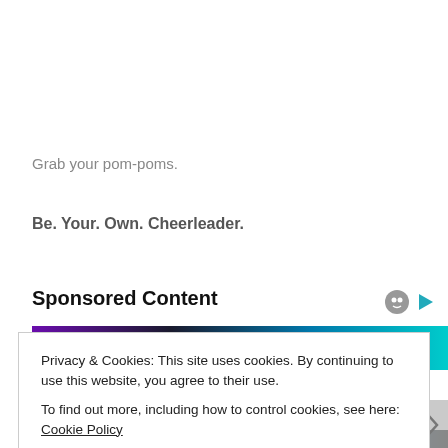Grab your pom-poms.
Be. Your. Own. Cheerleader.
Sponsored Content
[Figure (photo): Sponsored content image banner with purple and teal gradient colors]
Privacy & Cookies: This site uses cookies. By continuing to use this website, you agree to their use.
To find out more, including how to control cookies, see here: Cookie Policy
Close and accept